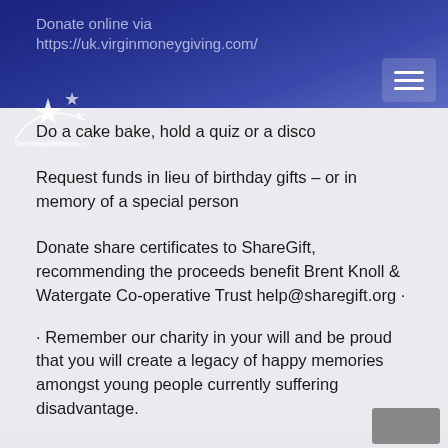Donate online via https://uk.virginmoneygiving.com/
Do a cake bake, hold a quiz or a disco
Request funds in lieu of birthday gifts – or in memory of a special person
Donate share certificates to ShareGift, recommending the proceeds benefit Brent Knoll & Watergate Co-operative Trust help@sharegift.org ·
· Remember our charity in your will and be proud that you will create a legacy of happy memories amongst young people currently suffering disadvantage.